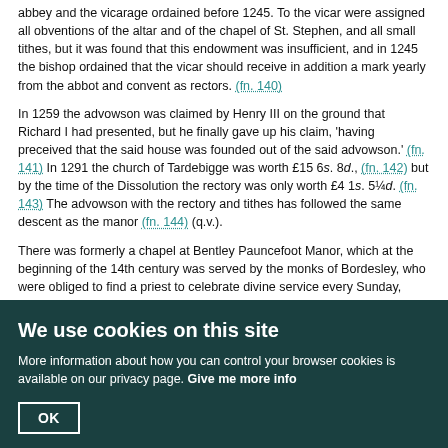abbey and the vicarage ordained before 1245. To the vicar were assigned all obventions of the altar and of the chapel of St. Stephen, and all small tithes, but it was found that this endowment was insufficient, and in 1245 the bishop ordained that the vicar should receive in addition a mark yearly from the abbot and convent as rectors. (fn. 140)
In 1259 the advowson was claimed by Henry III on the ground that Richard I had presented, but he finally gave up his claim, 'having preceived that the said house was founded out of the said advowson.' (fn. 141) In 1291 the church of Tardebigge was worth £15 6s. 8d., (fn. 142) but by the time of the Dissolution the rectory was only worth £4 1s. 5¼d. (fn. 143) The advowson with the rectory and tithes has followed the same descent as the manor (fn. 144) (q.v.).
There was formerly a chapel at Bentley Pauncefoot Manor, which at the beginning of the 14th century was served by the monks of Bordesley, who were obliged to find a priest to celebrate divine service every Sunday, Wednesday and Friday, and on all feast days. In 1332 Emery Pauncefoot granted the monks 2 marks yearly to find a chaplain for the remaining days of the week. (fn. 145)
There was also a chapel at Bordesley dedicated to St. Stephen, (fn. 146) the
We use cookies on this site
More information about how you can control your browser cookies is available on our privacy page. Give me more info